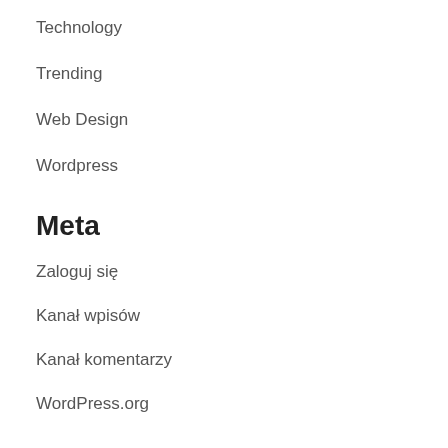Technology
Trending
Web Design
Wordpress
Meta
Zaloguj się
Kanał wpisów
Kanał komentarzy
WordPress.org
Ostatnie wpisy
Whole grain bread for your breakfast